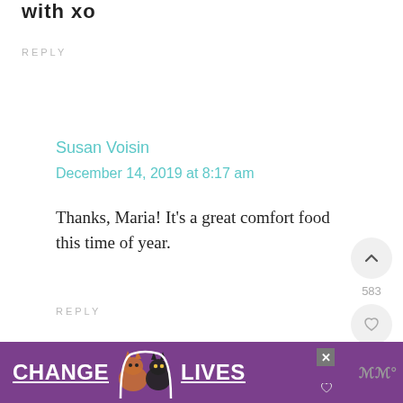with xo
REPLY
Susan Voisin
December 14, 2019 at 8:17 am
Thanks, Maria! It's a great comfort food this time of year.
REPLY
[Figure (infographic): Ad banner with purple background showing cats and text CHANGE LIVES with a close button and logo]
[Figure (infographic): Right side interactive buttons: upvote arrow (count 583), heart/like button, and teal search button]